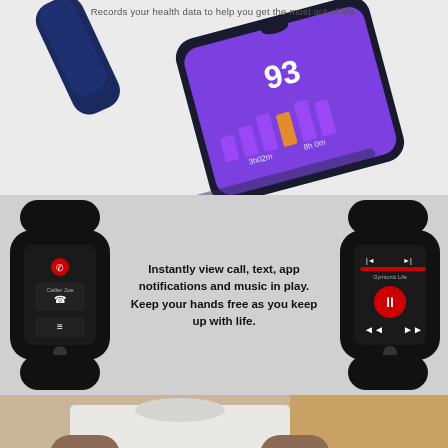Records your health data to help you get the most out of life.
[Figure (photo): Fitness tracker band and smartphone showing health app with score 93 on purple screen background]
[Figure (photo): Two Mi Band fitness trackers showing call/text notifications on left and music playback controls on right, flanking descriptive text]
Instantly view call, text, app notifications and music in play. Keep your hands free as you keep up with life.
[Figure (photo): Person wearing a white t-shirt putting on a fitness tracker band on their wrist, against a warm beige background]